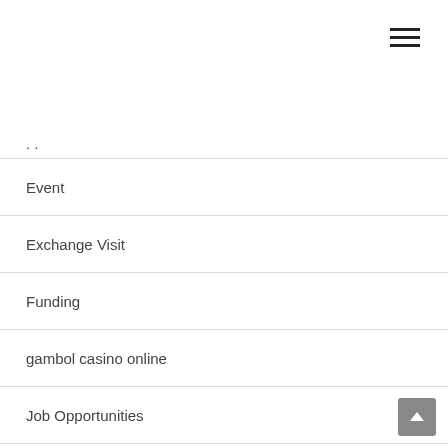[Figure (other): Hamburger menu icon (three horizontal lines) in top right corner]
· ·
Event
Exchange Visit
Funding
gambol casino online
Job Opportunities
Meeting
MSc
Other
PhD
Prize